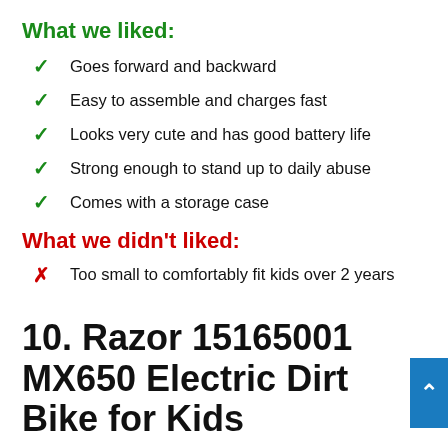What we liked:
Goes forward and backward
Easy to assemble and charges fast
Looks very cute and has good battery life
Strong enough to stand up to daily abuse
Comes with a storage case
What we didn't liked:
Too small to comfortably fit kids over 2 years
10. Razor 15165001 MX650 Electric Dirt Bike for Kids